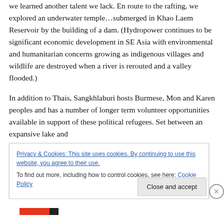we learned another talent we lack. En route to the rafting, we explored an underwater temple…submerged in Khao Laem Reservoir by the building of a dam. (Hydropower continues to be significant economic development in SE Asia with environmental and humanitarian concerns growing as indigenous villages and wildlife are destroyed when a river is rerouted and a valley flooded.)
In addition to Thais, Sangkhlaburi hosts Burmese, Mon and Karen peoples and has a number of longer term volunteer opportunities available in support of these political refugees. Set between an expansive lake and
Privacy & Cookies: This site uses cookies. By continuing to use this website, you agree to their use.
To find out more, including how to control cookies, see here: Cookie Policy
Close and accept